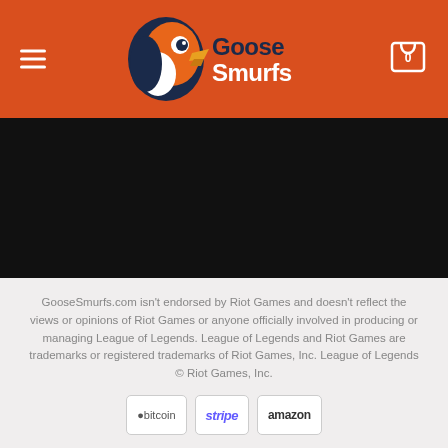[Figure (logo): GooseSmurfs logo with orange goose mascot and text 'Goose Smurfs' on orange header background]
[Figure (photo): Black banner/hero image area]
GooseSmurfs.com isn't endorsed by Riot Games and doesn't reflect the views or opinions of Riot Games or anyone officially involved in producing or managing League of Legends. League of Legends and Riot Games are trademarks or registered trademarks of Riot Games, Inc. League of Legends © Riot Games, Inc.
[Figure (other): Payment icons: Bitcoin, Stripe, Amazon]
ABOUT   FAQ
Copyright 2022 © GooseSmurfs